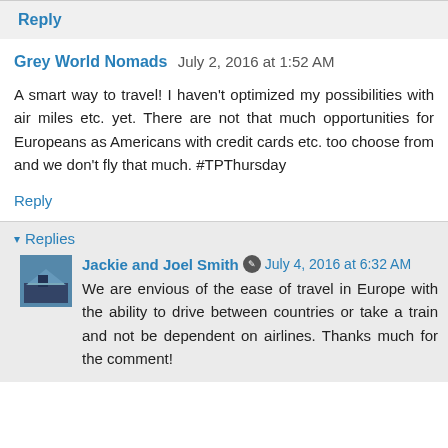Reply
Grey World Nomads  July 2, 2016 at 1:52 AM
A smart way to travel! I haven't optimized my possibilities with air miles etc. yet. There are not that much opportunities for Europeans as Americans with credit cards etc. too choose from and we don't fly that much. #TPThursday
Reply
Replies
Jackie and Joel Smith  July 4, 2016 at 6:32 AM
We are envious of the ease of travel in Europe with the ability to drive between countries or take a train and not be dependent on airlines. Thanks much for the comment!